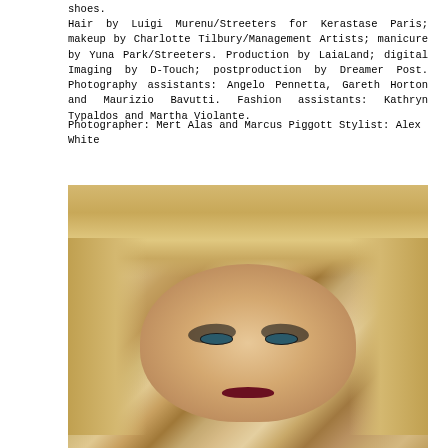shoes.
Hair by Luigi Murenu/Streeters for Kerastase Paris; makeup by Charlotte Tilbury/Management Artists; manicure by Yuna Park/Streeters. Production by LaiaLand; digital Imaging by D-Touch; postproduction by Dreamer Post. Photography assistants: Angelo Pennetta, Gareth Horton and Maurizio Bavutti. Fashion assistants: Kathryn Typaldos and Martha Violante.
Photographer: Mert Alas and Marcus Piggott Stylist: Alex White
[Figure (photo): Close-up portrait of a blonde model with dramatic dark eye makeup, teal eyes, and deep red lips, hair spread around her face]